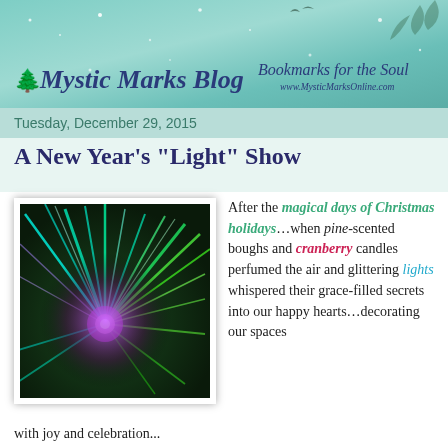[Figure (illustration): Mystic Marks Blog banner with teal gradient background, sparkles, birds silhouette, tree icon, blog title and tagline]
Tuesday, December 29, 2015
A New Year's "Light" Show
[Figure (illustration): Colorful light burst/starburst on dark green background with purple, teal, and green rays emanating from center]
After the magical days of Christmas holidays…when pine-scented boughs and cranberry candles perfumed the air and glittering lights whispered their grace-filled secrets into our happy hearts…decorating our spaces with joy and celebration...